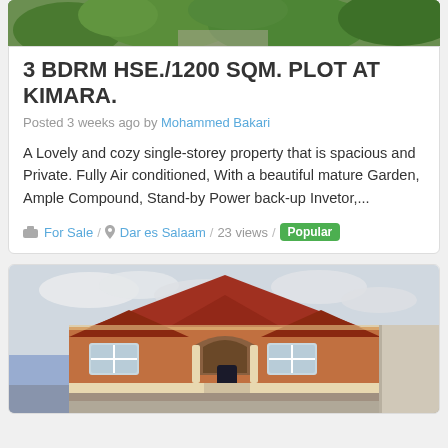[Figure (photo): Top portion of a property listing card showing a green garden/foliage photo (cropped at top)]
3 BDRM HSE./1200 SQM. PLOT AT KIMARA.
Posted 3 weeks ago by Mohammed Bakari
A Lovely and cozy single-storey property that is spacious and Private. Fully Air conditioned, With a beautiful mature Garden, Ample Compound, Stand-by Power back-up Invetor,...
For Sale / Dar es Salaam / 23 views / Popular
[Figure (photo): Photo of a single-storey orange/brown house with red tiled roof, arched windows and doorway, under cloudy sky]